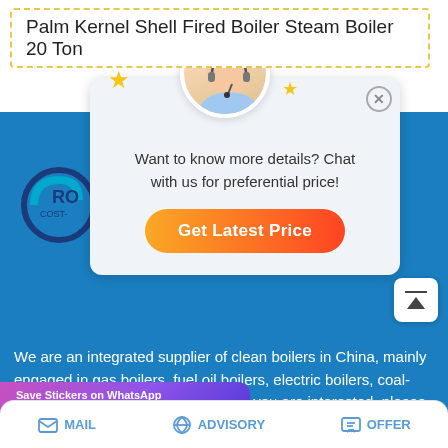Palm Kernel Shell Fired Boiler Steam Boiler 20 Ton
[Figure (screenshot): Chat popup overlay with a customer service representative avatar, star decorations, text 'Want to know more details? Chat with us for preferential price!' and an orange 'Get Latest Price' button. A logo partially visible on the left and an up-arrow button on the right.]
We are an integrated supplier of clean boilers in China, mainly engaged in gas boilers, fuel oil boilers, electric boilers, coal-fired boilers, biomass boilers, etc. If you are interested, please contact us.
[Figure (screenshot): WhatsApp sticker save popup with purple gradient background showing 'Save Stickers on WhatsApp' with a green WhatsApp icon and a pink emoji icon.]
MAIL   ADVISORY   OFFER